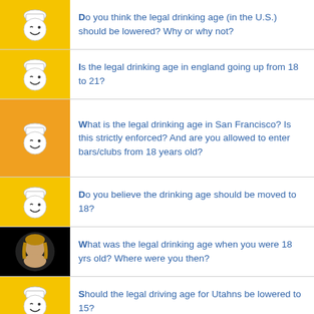Do you think the legal drinking age (in the U.S.) should be lowered? Why or why not?
Is the legal drinking age in england going up from 18 to 21?
What is the legal drinking age in San Francisco? Is this strictly enforced? And are you allowed to enter bars/clubs from 18 years old?
Do you believe the drinking age should be moved to 18?
What was the legal drinking age when you were 18 yrs old? Where were you then?
Should the legal driving age for Utahns be lowered to 15?